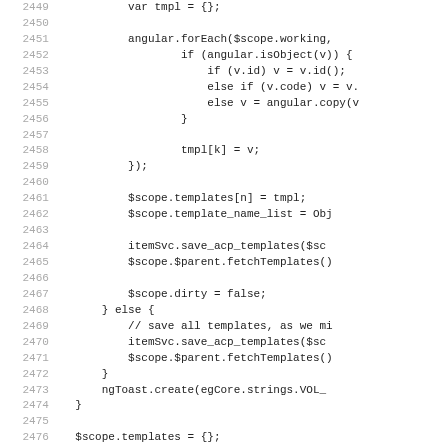Source code listing lines 2449-2481, JavaScript/AngularJS code snippet